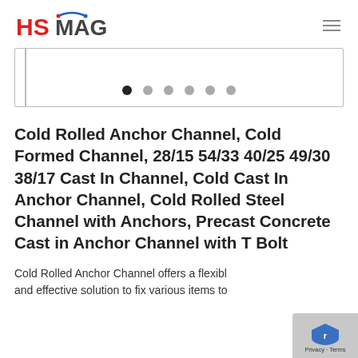HSMAG
[Figure (other): Image slider/carousel box with 6 navigation dots at the bottom, first dot active (dark), rest grey]
Cold Rolled Anchor Channel, Cold Formed Channel, 28/15 54/33 40/25 49/30 38/17 Cast In Channel, Cold Cast In Anchor Channel, Cold Rolled Steel Channel with Anchors, Precast Concrete Cast in Anchor Channel with T Bolt
Cold Rolled Anchor Channel offers a flexible and effective solution to fix various items to...